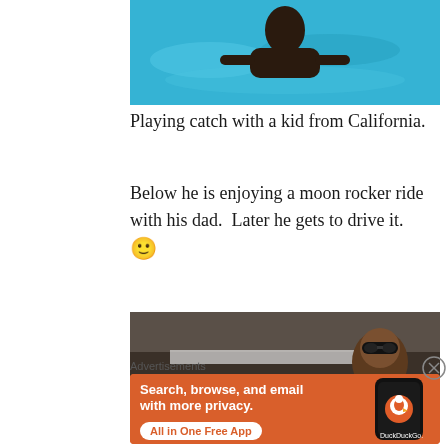[Figure (photo): Photo of a person playing in a blue swimming pool]
Playing catch with a kid from California.
Below he is enjoying a moon rocker ride with his dad.  Later he gets to drive it. 🙂
[Figure (photo): Close-up photo of a young child wearing sunglasses in a ride]
Advertisements
[Figure (other): DuckDuckGo advertisement banner: Search, browse, and email with more privacy. All in One Free App]